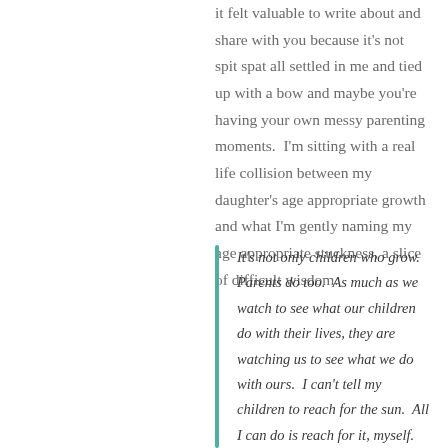it felt valuable to write about and share with you because it's not spit spat all settled in me and tied up with a bow and maybe you're having your own messy parenting moments.  I'm sitting with a real life collision between my daughter's age appropriate growth and what I'm gently naming my age appropriate stuckness, a slice of difficult wisdom.
It's not only children who grow.  Parents do too.  As much as we watch to see what our children do with their lives, they are watching us to see what we do with ours.  I can't tell my children to reach for the sun.  All I can do is reach for it, myself.